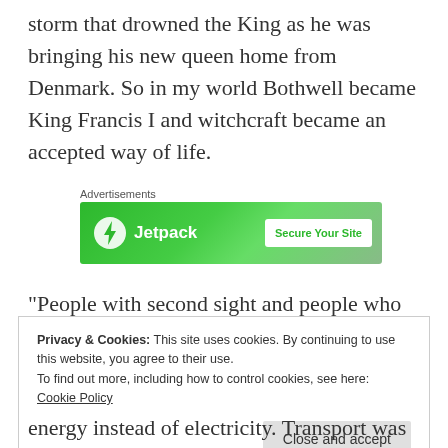storm that drowned the King as he was bringing his new queen home from Denmark. So in my world Bothwell became King Francis I and witchcraft became an accepted way of life.
[Figure (infographic): Green Jetpack advertisement banner with lightning bolt icon and 'Secure Your Site' button]
“People with second sight and people who
Privacy & Cookies: This site uses cookies. By continuing to use this website, you agree to their use.
To find out more, including how to control cookies, see here: Cookie Policy
energy instead of electricity. Transport was